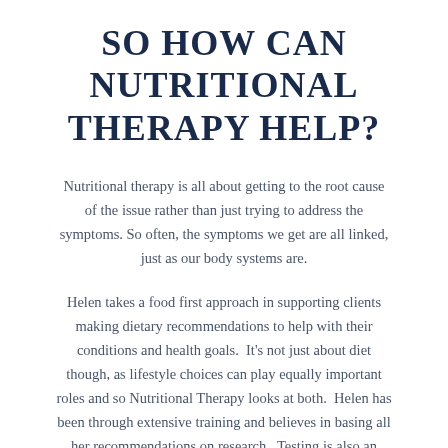SO HOW CAN NUTRITIONAL THERAPY HELP?
Nutritional therapy is all about getting to the root cause of the issue rather than just trying to address the symptoms. So often, the symptoms we get are all linked, just as our body systems are.
Helen takes a food first approach in supporting clients making dietary recommendations to help with their conditions and health goals.  It's not just about diet though, as lifestyle choices can play equally important roles and so Nutritional Therapy looks at both.  Helen has been through extensive training and believes in basing all her recommendations on research.  Testing is also an option to be able to understand what is going on in the body. This is often used with clients to understand what